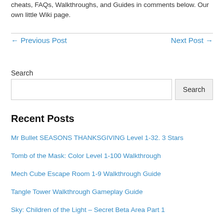cheats, FAQs, Walkthroughs, and Guides in comments below. Our own little Wiki page.
← Previous Post
Next Post →
Search
Recent Posts
Mr Bullet SEASONS THANKSGIVING Level 1-32. 3 Stars
Tomb of the Mask: Color Level 1-100 Walkthrough
Mech Cube Escape Room 1-9 Walkthrough Guide
Tangle Tower Walkthrough Gameplay Guide
Sky: Children of the Light – Secret Beta Area Part 1